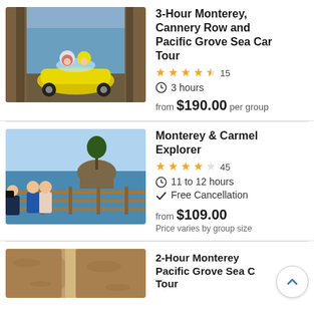[Figure (photo): Two people riding a yellow sea car (small open car) framed by large tree trunks with ocean in background]
3-Hour Monterey, Cannery Row and Pacific Grove Sea Car Tour
★★★★½ 15
3 hours
from $190.00 per group
[Figure (photo): Two people posing on a wooden railed overlook with an iconic lone cypress tree on a rocky headland and blue ocean behind]
Monterey & Carmel Explorer
★★★★☆ 45
11 to 12 hours
✓ Free Cancellation
from $109.00
Price varies by group size
[Figure (photo): Partial photo of two large elephant seals or sea lions with brown textured skin, cropped at bottom of page]
2-Hour Monterey Pacific Grove Sea Car Tour